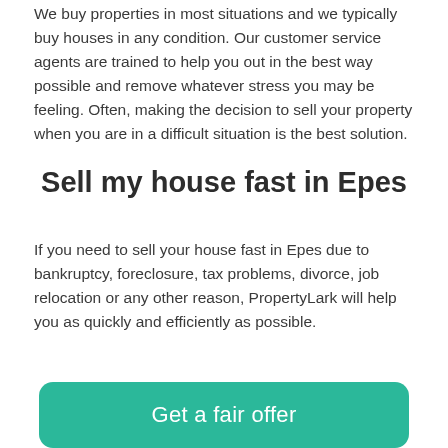We buy properties in most situations and we typically buy houses in any condition. Our customer service agents are trained to help you out in the best way possible and remove whatever stress you may be feeling. Often, making the decision to sell your property when you are in a difficult situation is the best solution.
Sell my house fast in Epes
If you need to sell your house fast in Epes due to bankruptcy, foreclosure, tax problems, divorce, job relocation or any other reason, PropertyLark will help you as quickly and efficiently as possible.
Get a fair offer